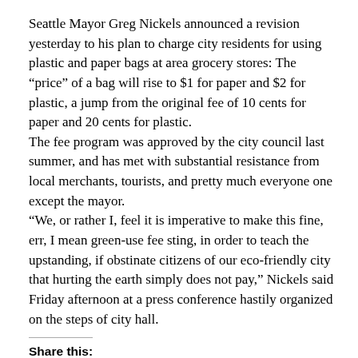Seattle Mayor Greg Nickels announced a revision yesterday to his plan to charge city residents for using plastic and paper bags at area grocery stores: The “price” of a bag will rise to $1 for paper and $2 for plastic, a jump from the original fee of 10 cents for paper and 20 cents for plastic.
The fee program was approved by the city council last summer, and has met with substantial resistance from local merchants, tourists, and pretty much everyone one except the mayor.
“We, or rather I, feel it is imperative to make this fine, err, I mean green-use fee sting, in order to teach the upstanding, if obstinate citizens of our eco-friendly city that hurting the earth simply does not pay,” Nickels said Friday afternoon at a press conference hastily organized on the steps of city hall.
Share this: